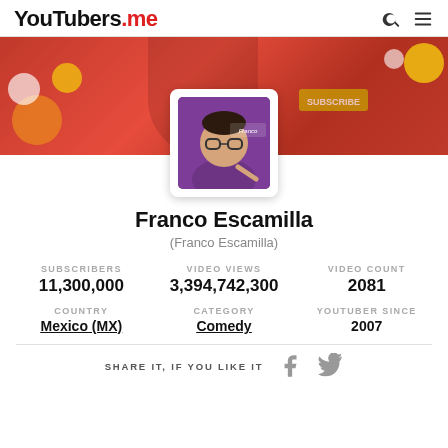YouTubers.me
[Figure (photo): YouTubers.me profile banner — red background with yellow and white decorative blobs, avatar image of Franco Escamilla (cartoon-style man in purple jacket pointing, with logo text 'Franco Escamilla') centered on the banner]
Franco Escamilla
(Franco Escamilla)
| SUBSCRIBERS | VIDEO VIEWS | VIDEO COUNT |
| --- | --- | --- |
| 11,300,000 | 3,394,742,300 | 2081 |
| COUNTRY | CATEGORY | YOUTUBER SINCE |
| --- | --- | --- |
| Mexico (MX) | Comedy | 2007 |
SHARE IT, IF YOU LIKE IT